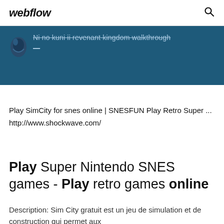webflow
[Figure (screenshot): Dark blue banner with a stylized bird/character icon in the top-left area and struck-through text reading 'Ni no kuni ii revenant kingdom walkthrough —']
Play SimCity for snes online | SNESFUN Play Retro Super ...
http://www.shockwave.com/
Play Super Nintendo SNES games - Play retro games online
Description: Sim City gratuit est un jeu de simulation et de construction qui permet aux